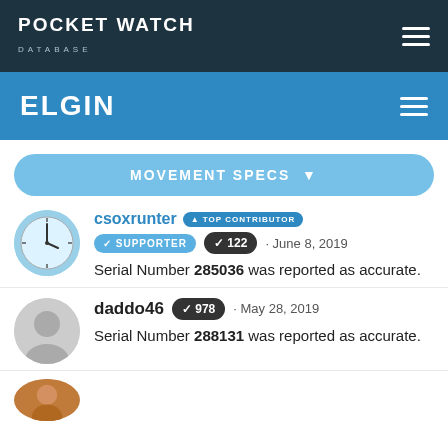POCKET WATCH DATABASE
ELGIN
MOVEMENT SPECS
csoxrunter TOP CONTRIBUTOR SUPPORTER 122 · June 8, 2019
Serial Number 285036 was reported as accurate.
daddo46 978 · May 28, 2019
Serial Number 288131 was reported as accurate.